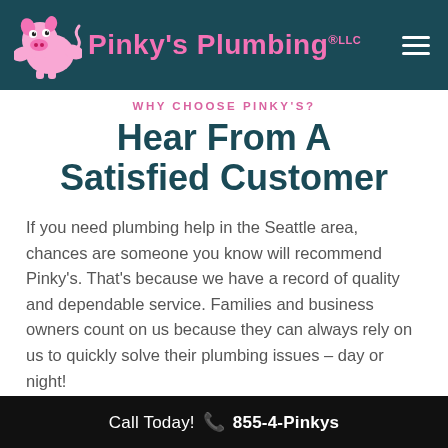Pinky's Plumbing LLC
WHY CHOOSE PINKY'S?
Hear From A Satisfied Customer
If you need plumbing help in the Seattle area, chances are someone you know will recommend Pinky's. That's because we have a record of quality and dependable service. Families and business owners count on us because they can always rely on us to quickly solve their plumbing issues – day or night!
Call Today! 855-4-Pinkys